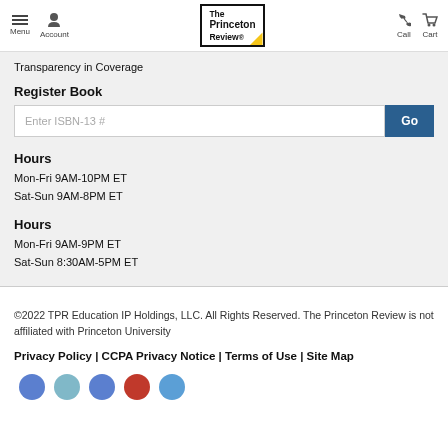Menu | Account | The Princeton Review | Call | Cart
Transparency in Coverage
Register Book
Enter ISBN-13 #  Go
Hours
Mon-Fri 9AM-10PM ET
Sat-Sun 9AM-8PM ET
Hours
Mon-Fri 9AM-9PM ET
Sat-Sun 8:30AM-5PM ET
©2022 TPR Education IP Holdings, LLC. All Rights Reserved. The Princeton Review is not affiliated with Princeton University
Privacy Policy | CCPA Privacy Notice | Terms of Use | Site Map